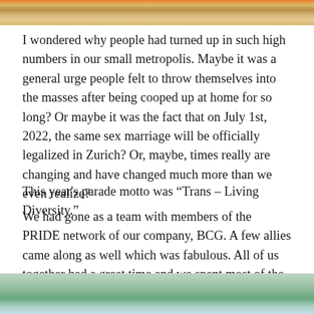[Figure (photo): Top portion of a photo showing colorful crowd at a Pride parade, cropped at top of page]
I wondered why people had turned up in such high numbers in our small metropolis. Maybe it was a general urge people felt to throw themselves into the masses after being cooped up at home for so long? Or maybe it was the fact that on July 1st, 2022, the same sex marriage will be officially legalized in Zurich? Or, maybe, times really are changing and have changed much more than we even realize?
This year's parade motto was “Trans – Living Diversity.”
We had gone as a team with members of the PRIDE network of our company, BCG. A few allies came along as well which was fabulous. All of us together had a great time and we spent most of the day losing each other, then searching and finding each other again in this sea of joyful human beings.
[Figure (photo): Bottom portion of a photo showing trees and a modern glass building exterior, cropped at bottom of page]